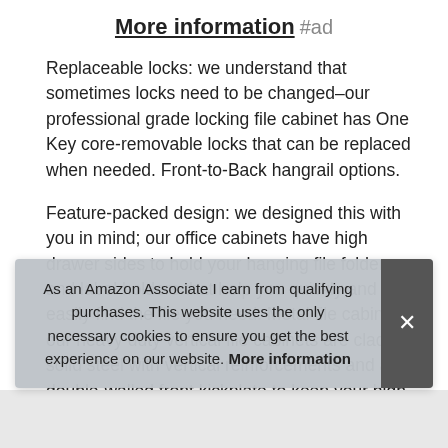More information #ad
Replaceable locks: we understand that sometimes locks need to be changed–our professional grade locking file cabinet has One Key core-removable locks that can be replaced when needed. Front-to-Back hangrail options.
Feature-packed design: we designed this with you in mind; our office cabinets have high drawer sides to hold your hanging file folders and label holders that help you quickly and easily find the file you need. Metal file cabinet: our heavy duty vertical file cabinets are clad in solid steel with vertical reinforcements and a double-walled front kickplate to keep your high-security documents safe. Overall Depth: 26.5 inches Overall Height:52.0 in
As an Amazon Associate I earn from qualifying purchases. This website uses the only necessary cookies to ensure you get the best experience on our website. More information